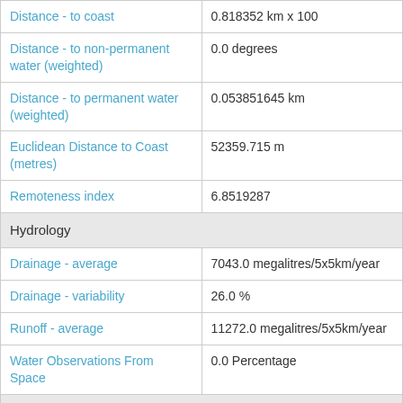| Attribute | Value |
| --- | --- |
| Distance - to coast | 0.818352 km x 100 |
| Distance - to non-permanent water (weighted) | 0.0 degrees |
| Distance - to permanent water (weighted) | 0.053851645 km |
| Euclidean Distance to Coast (metres) | 52359.715 m |
| Remoteness index | 6.8519287 |
| Hydrology |  |
| Drainage - average | 7043.0 megalitres/5x5km/year |
| Drainage - variability | 26.0 % |
| Runoff - average | 11272.0 megalitres/5x5km/year |
| Water Observations From Space | 0.0 Percentage |
| Social |  |
| Population - density SLA 2006 | 1.6 people/km^2 |